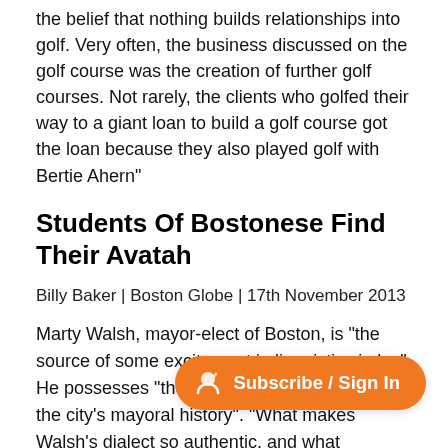the belief that nothing builds relationships into golf. Very often, the business discussed on the golf course was the creation of further golf courses. Not rarely, the clients who golfed their way to a giant loan to build a golf course got the loan because they also played golf with Bertie Ahern"
Students Of Bostonese Find Their Avatah
Billy Baker | Boston Globe | 17th November 2013
Marty Walsh, mayor-elect of Boston, is "the source of some excitement in linguistic circles". He possesses "the strongest Boston dialect in the city's mayoral history". "What makes Walsh's dialect so authentic, and what separates him from th who have tried — and faile inflection, is the variability in his speech. He does not